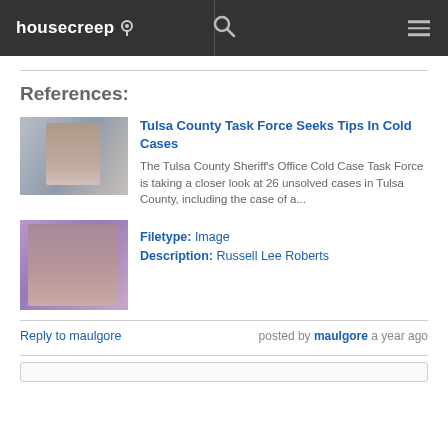housecreep
References:
[Figure (photo): Thumbnail photo of a person]
Tulsa County Task Force Seeks Tips In Cold Cases
The Tulsa County Sheriff's Office Cold Case Task Force is taking a closer look at 26 unsolved cases in Tulsa County, including the case of a...
[Figure (photo): Photo of Russell Lee Roberts]
Filetype: Image
Description: Russell Lee Roberts
Reply to maulgore
posted by maulgore a year ago